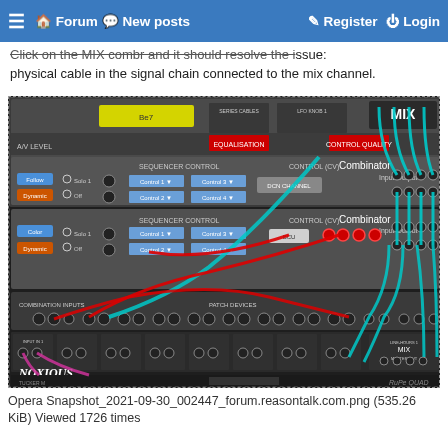you get in release with a similar patch. Reported it anyway. Click on the MIX combinator and it should resolve the issue: physical cable in the signal chain connected to the mix channel.
≡  Forum  New posts  Register  Login
[Figure (screenshot): Screenshot of a Reason digital audio workstation showing rack units including a Combinator module with cyan/blue and red patch cables connecting various modules including a MIX unit, two Combinator panels, a main patch bay area, and NOXIOUS/RuPe QUAD modules at the bottom.]
Opera Snapshot_2021-09-30_002447_forum.reasontalk.com.png (535.26 KiB) Viewed 1726 times